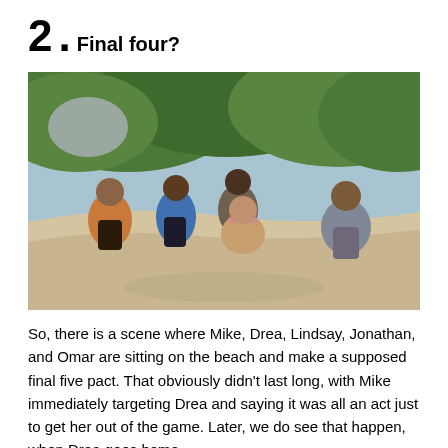2. Final four?
[Figure (photo): Five Survivor contestants sitting on a sandy beach with lush green vegetation in the background. From left to right: a man in an orange top, a woman in a blue top, a man in the center background, a woman with a pink/purple headband sitting cross-legged in the foreground, and a man in a grey long-sleeve top on the right.]
So, there is a scene where Mike, Drea, Lindsay, Jonathan, and Omar are sitting on the beach and make a supposed final five pact. That obviously didn't last long, with Mike immediately targeting Drea and saying it was all an act just to get her out of the game. Later, we do see that happen, when Drea goes home.